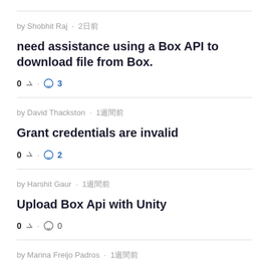by Shobhit Raj · 2日前
need assistance using a Box API to download file from Box.
0 · 3 comments
by David Thackston · 1週間前
Grant credentials are invalid
0 · 2 comments
by Harshit Gaur · 1週間前
Upload Box Api with Unity
0 · 0 comments
by Marina Freijo Padros · 1週間前